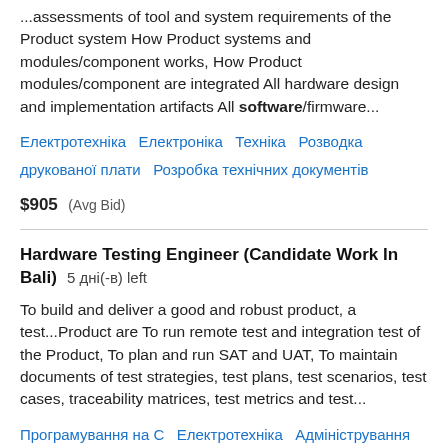...assessments of tool and system requirements of the Product system How Product systems and modules/component works, How Product modules/component are integrated All hardware design and implementation artifacts All software/firmware...
Електротехніка  Електроніка  Техніка  Розводка друкованої плати  Розробка технічних документів
$905  (Avg Bid)
Hardware Testing Engineer (Candidate Work In Bali)  5 дні(-в) left
To build and deliver a good and robust product, a test...Product are To run remote test and integration test of the Product, To plan and run SAT and UAT, To maintain documents of test strategies, test plans, test scenarios, test cases, traceability matrices, test metrics and test...
Програмування на С  Електротехніка  Адміністрування мережі  Тестування ПЗ  Тестування / QA